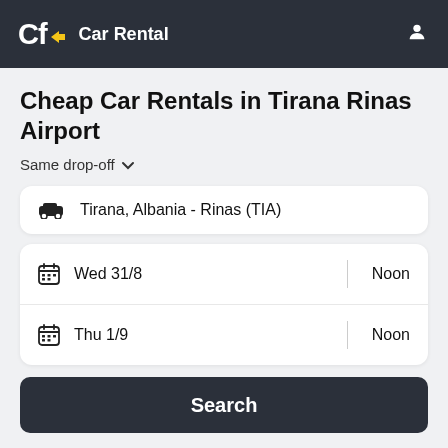Cf Car Rental
Cheap Car Rentals in Tirana Rinas Airport
Same drop-off
Tirana, Albania - Rinas (TIA)
Wed 31/8 | Noon
Thu 1/9 | Noon
Search
DRIVER'S AGE: 26-65 OTHER